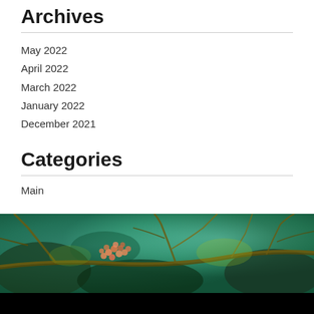Archives
May 2022
April 2022
March 2022
January 2022
December 2021
Categories
Main
[Figure (photo): Photograph of tree branches with small orange/pink berries against a teal/green blurred background]